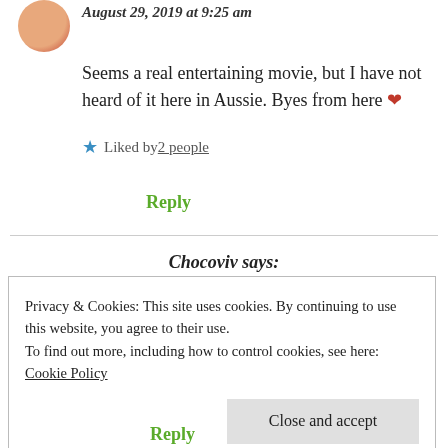[Figure (photo): Small circular avatar photo of a person]
August 29, 2019 at 9:25 am (partially cropped at top)
Seems a real entertaining movie, but I have not heard of it here in Aussie. Byes from here ❤
★ Liked by 2 people
Reply
Chocoviv says:
August 29, 2019 at 9:33 am
Privacy & Cookies: This site uses cookies. By continuing to use this website, you agree to their use.
To find out more, including how to control cookies, see here: Cookie Policy
Close and accept
Reply